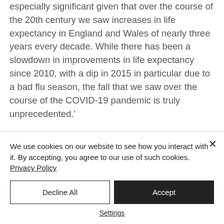especially significant given that over the course of the 20th century we saw increases in life expectancy in England and Wales of nearly three years every decade. While there has been a slowdown in improvements in life expectancy since 2010, with a dip in 2015 in particular due to a bad flu season, the fall that we saw over the course of the COVID-19 pandemic is truly unprecedented.'
We use cookies on our website to see how you interact with it. By accepting, you agree to our use of such cookies. Privacy Policy
Decline All
Accept
Settings